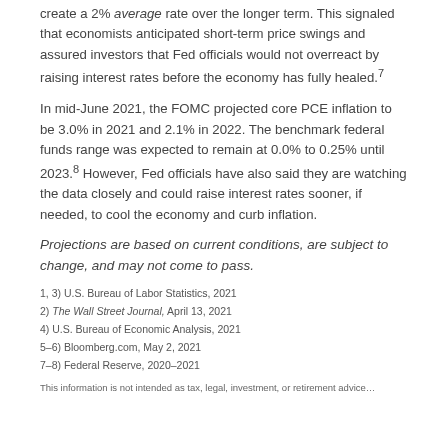create a 2% average rate over the longer term. This signaled that economists anticipated short-term price swings and assured investors that Fed officials would not overreact by raising interest rates before the economy has fully healed.7
In mid-June 2021, the FOMC projected core PCE inflation to be 3.0% in 2021 and 2.1% in 2022. The benchmark federal funds range was expected to remain at 0.0% to 0.25% until 2023.8 However, Fed officials have also said they are watching the data closely and could raise interest rates sooner, if needed, to cool the economy and curb inflation.
Projections are based on current conditions, are subject to change, and may not come to pass.
1, 3) U.S. Bureau of Labor Statistics, 2021
2) The Wall Street Journal, April 13, 2021
4) U.S. Bureau of Economic Analysis, 2021
5–6) Bloomberg.com, May 2, 2021
7–8) Federal Reserve, 2020–2021
This information is not intended as tax, legal, investment, or retirement advice...